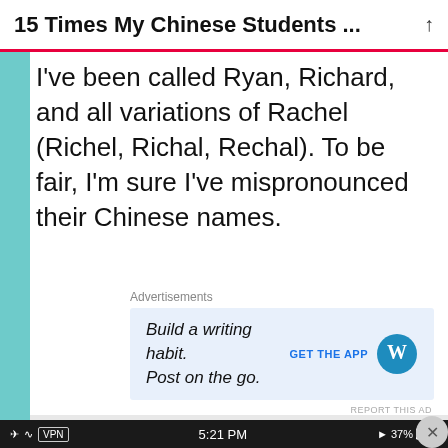15 Times My Chinese Students ...
I've been called Ryan, Richard, and all variations of Rachel (Richel, Richal, Rechal). To be fair, I'm sure I've mispronounced their Chinese names.
Advertisements
[Figure (screenshot): WordPress ad: 'Build a writing habit. Post on the go.' with GET THE APP button and WordPress logo on light blue background]
REPORT THIS AD
[Figure (screenshot): Phone status bar showing airplane mode, WiFi, VPN indicator, time 5:21 PM, location icon, 37% battery]
Advertisements
[Figure (screenshot): DuckDuckGo advertisement on orange background: 'Search, browse, and email with more privacy. All in One Free App' with DuckDuckGo logo and phone image]